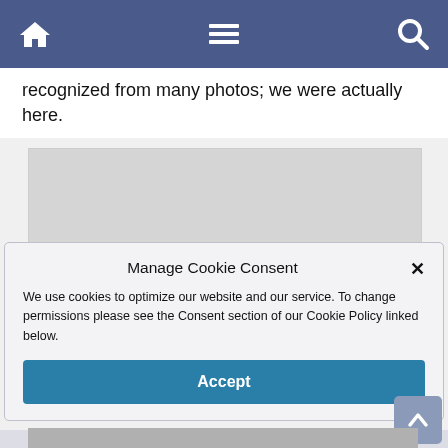Navigation bar with home, menu, and search icons
recognized from many photos; we were actually here.
[Figure (screenshot): Cookie consent modal dialog with title 'Manage Cookie Consent', body text about cookies, and an Accept button]
[Figure (photo): Partial photo visible at the bottom of the page]